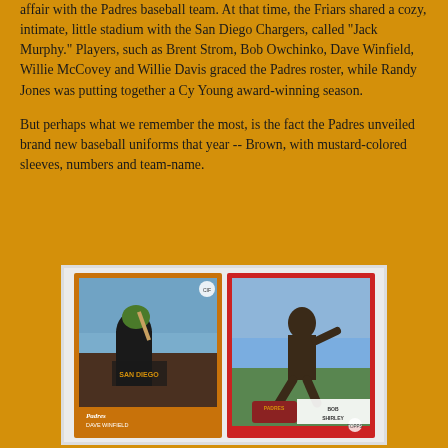affair with the Padres baseball team. At that time, the Friars shared a cozy, intimate, little stadium with the San Diego Chargers, called "Jack Murphy." Players, such as Brent Strom, Bob Owchinko, Dave Winfield, Willie McCovey and Willie Davis graced the Padres roster, while Randy Jones was putting together a Cy Young award-winning season.
But perhaps what we remember the most, is the fact the Padres unveiled brand new baseball uniforms that year -- Brown, with mustard-colored sleeves, numbers and team-name.
[Figure (photo): Two vintage Topps baseball cards side by side: left card shows Dave Winfield in San Diego Padres brown and yellow uniform with orange border; right card shows Bob Shirley pitching in Padres uniform with red border.]